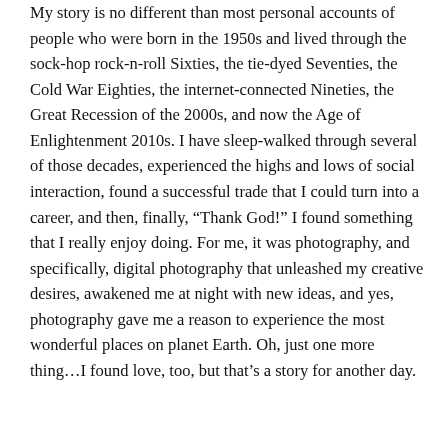My story is no different than most personal accounts of people who were born in the 1950s and lived through the sock-hop rock-n-roll Sixties, the tie-dyed Seventies, the Cold War Eighties, the internet-connected Nineties, the Great Recession of the 2000s, and now the Age of Enlightenment 2010s. I have sleep-walked through several of those decades, experienced the highs and lows of social interaction, found a successful trade that I could turn into a career, and then, finally, “Thank God!” I found something that I really enjoy doing. For me, it was photography, and specifically, digital photography that unleashed my creative desires, awakened me at night with new ideas, and yes, photography gave me a reason to experience the most wonderful places on planet Earth. Oh, just one more thing…I found love, too, but that’s a story for another day.